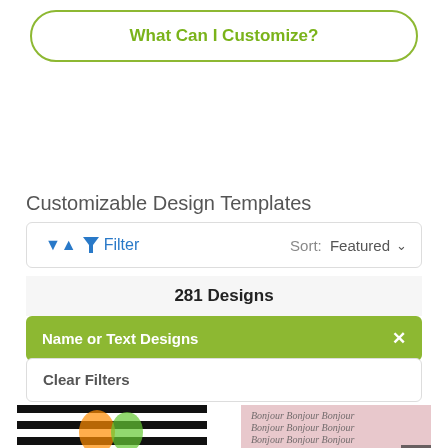What Can I Customize?
Customizable Design Templates
Filter   Sort: Featured
281 Designs
Name or Text Designs ✕
Clear Filters
[Figure (screenshot): Product thumbnail showing black and white striped background with colorful cocktail drinks]
[Figure (screenshot): Product thumbnail showing pink background with cursive script text reading Bonjour]